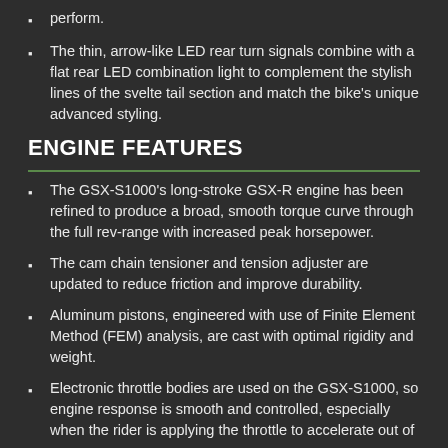perform.
The thin, arrow-like LED rear turn signals combine with a flat rear LED combination light to complement the stylish lines of the svelte tail section and match the bike's unique advanced styling.
ENGINE FEATURES
The GSX-S1000's long-stroke GSX-R engine has been refined to produce a broad, smooth torque curve through the full rev-range with increased peak horsepower.
The cam chain tensioner and tension adjuster are updated to reduce friction and improve durability.
Aluminum pistons, engineered with use of Finite Element Method (FEM) analysis, are cast with optimal rigidity and weight.
Electronic throttle bodies are used on the GSX-S1000, so engine response is smooth and controlled, especially when the rider is applying the throttle to accelerate out of a corner.
Retaining the under-chassis design, sharp looks and